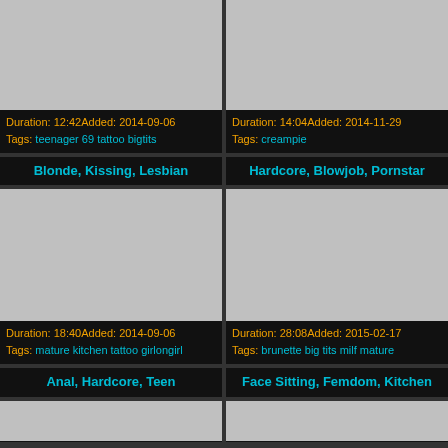[Figure (photo): Top-left video thumbnail placeholder (grey)]
[Figure (photo): Top-right video thumbnail placeholder (grey)]
Duration: 12:42Added: 2014-09-06 Tags: teenager 69 tattoo bigtits
Duration: 14:04Added: 2014-11-29 Tags: creampie
Blonde, Kissing, Lesbian
Hardcore, Blowjob, Pornstar
[Figure (photo): Middle-left video thumbnail placeholder (grey)]
[Figure (photo): Middle-right video thumbnail placeholder (grey)]
Duration: 18:40Added: 2014-09-06 Tags: mature kitchen tattoo girlongirl
Duration: 28:08Added: 2015-02-17 Tags: brunette big tits milf mature
Anal, Hardcore, Teen
Face Sitting, Femdom, Kitchen
[Figure (photo): Bottom-left video thumbnail placeholder (grey)]
[Figure (photo): Bottom-right video thumbnail placeholder (grey)]